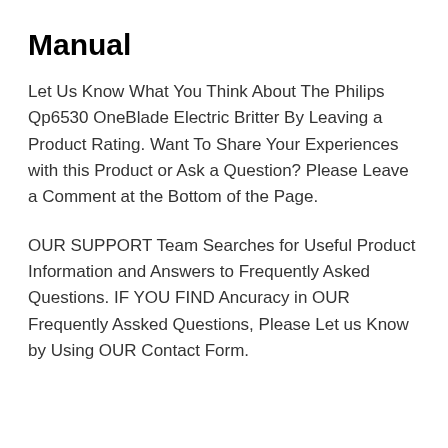Manual
Let Us Know What You Think About The Philips Qp6530 OneBlade Electric Britter By Leaving a Product Rating. Want To Share Your Experiences with this Product or Ask a Question? Please Leave a Comment at the Bottom of the Page.
OUR SUPPORT Team Searches for Useful Product Information and Answers to Frequently Asked Questions. IF YOU FIND Ancuracy in OUR Frequently Assked Questions, Please Let us Know by Using OUR Contact Form.